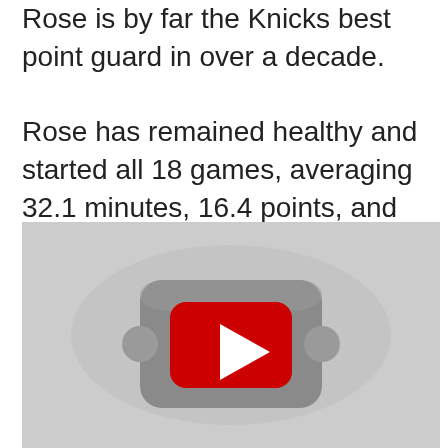Rose is by far the Knicks best point guard in over a decade.

Rose has remained healthy and started all 18 games, averaging 32.1 minutes, 16.4 points, and 4.8 assists, on .437 shooting. The Knicks have plenty of problems, but Rose isn't near the top of the list.
[Figure (screenshot): YouTube video player thumbnail showing a red YouTube play button centered on a gray background.]